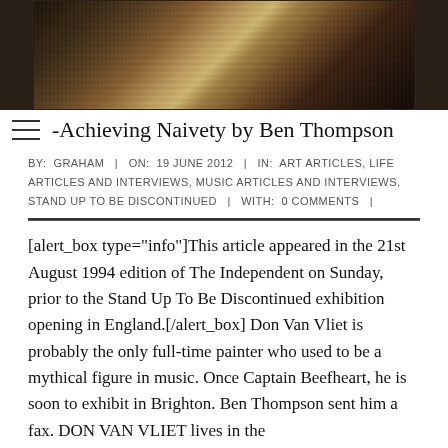[Figure (photo): Black and white photograph of a person, cropped to show torso/upper body area with textured fabric/clothing visible]
-Achieving Naivety by Ben Thompson
BY: GRAHAM | ON: 19 JUNE 2012 | IN: ART ARTICLES, LIFE ARTICLES AND INTERVIEWS, MUSIC ARTICLES AND INTERVIEWS, STAND UP TO BE DISCONTINUED | WITH: 0 COMMENTS |
[alert_box type="info"]This article appeared in the 21st August 1994 edition of The Independent on Sunday, prior to the Stand Up To Be Discontinued exhibition opening in England.[/alert_box] Don Van Vliet is probably the only full-time painter who used to be a mythical figure in music. Once Captain Beefheart, he is soon to exhibit in Brighton. Ben Thompson sent him a fax. DON VAN VLIET lives in the